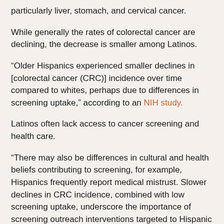particularly liver, stomach, and cervical cancer.
While generally the rates of colorectal cancer are declining, the decrease is smaller among Latinos.
“Older Hispanics experienced smaller declines in [colorectal cancer (CRC)] incidence over time compared to whites, perhaps due to differences in screening uptake,” according to an NIH study.
Latinos often lack access to cancer screening and health care.
“There may also be differences in cultural and health beliefs contributing to screening, for example, Hispanics frequently report medical mistrust. Slower declines in CRC incidence, combined with low screening uptake, underscore the importance of screening outreach interventions targeted to Hispanic populations, such as those in community health centers and safety-net systems,” according to an NIH study.
Latino cancer health disparities are also driven by structural